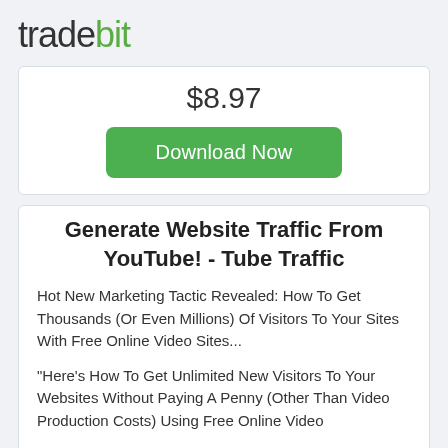tradebit
$8.97
Download Now
Generate Website Traffic From YouTube! - Tube Traffic
Hot New Marketing Tactic Revealed: How To Get Thousands (Or Even Millions) Of Visitors To Your Sites With Free Online Video Sites...
"Here's How To Get Unlimited New Visitors To Your Websites Without Paying A Penny (Other Than Video Production Costs) Using Free Online Video